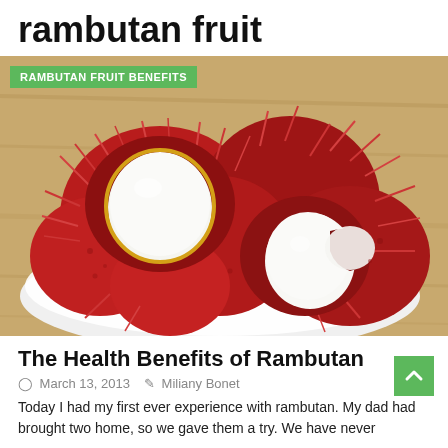rambutan fruit
[Figure (photo): Bowl of rambutan fruits, some opened showing white flesh inside, placed on a wooden cutting board. Green banner overlay reads RAMBUTAN FRUIT BENEFITS.]
The Health Benefits of Rambutan
March 13, 2013   Miliany Bonet
Today I had my first ever experience with rambutan. My dad had brought two home, so we gave them a try. We have never